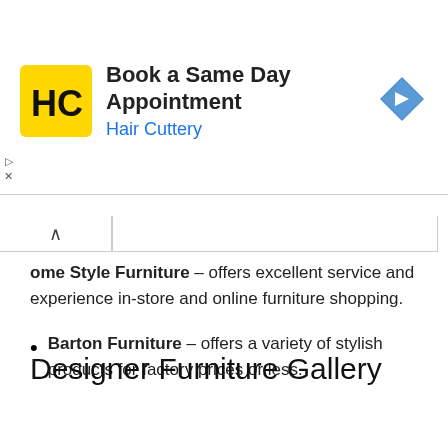[Figure (screenshot): Hair Cuttery advertisement banner: yellow logo with HC monogram, text 'Book a Same Day Appointment' and 'Hair Cuttery' in blue, blue diamond arrow icon on the right. Ad controls (play and close) on the far left.]
Home Style Furniture – offers excellent service and experience in-store and online furniture shopping.
Barton Furniture – offers a variety of stylish products for factory prices or less.
Designer Furniture Gallery